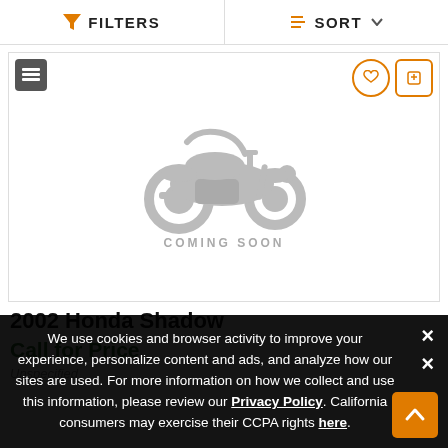FILTERS | SORT
[Figure (illustration): Motorcycle silhouette placeholder image with text 'COMING SOON' below it, shown in grey tones on white background]
2002 Honda Shadow
Call for Price
Unspecified
We use cookies and browser activity to improve your experience, personalize content and ads, and analyze how our sites are used. For more information on how we collect and use this information, please review our Privacy Policy. California consumers may exercise their CCPA rights here.